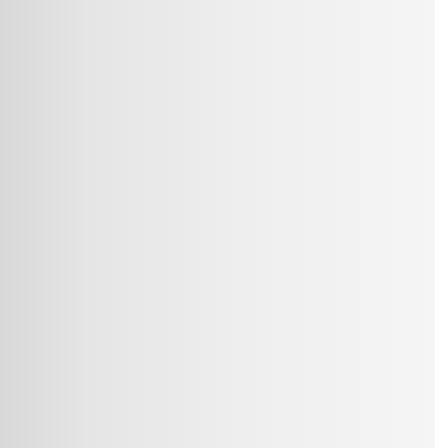BNP; ECB helps money markets
"There appears to be a dash for cash both in dollars and in euros," said Nick Parsons, head of market strategy at nabCapital.

"Because liquidity in the market is drying up and because financing is also becoming...